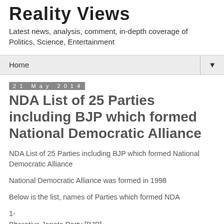Reality Views
Latest news, analysis, comment, in-depth coverage of Politics, Science, Entertainment
Home ▼
21 May 2014
NDA List of 25 Parties including BJP which formed National Democratic Alliance
NDA List of 25 Parties including BJP which formed National Democratic Alliance
National Democratic Alliance was formed in 1998
Below is the list, names of Parties which formed NDA
1-
Bharatiya Janata Party [BJP]